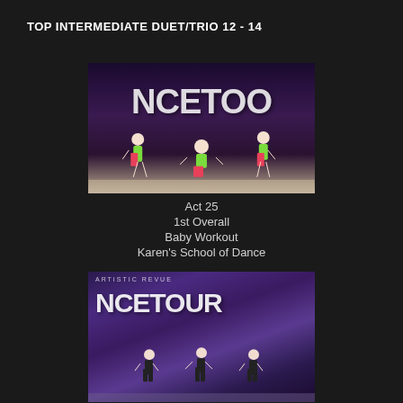TOP INTERMEDIATE DUET/TRIO 12 - 14
[Figure (photo): Three young dancers in neon green and pink costumes performing on a dance competition stage with 'DANCE TOO' backdrop signage]
Act 25
1st Overall
Baby Workout
Karen's School of Dance
[Figure (photo): Three dancers in black costumes performing on stage with 'ARTISTIC REVUE DANCE TOUR' backdrop]